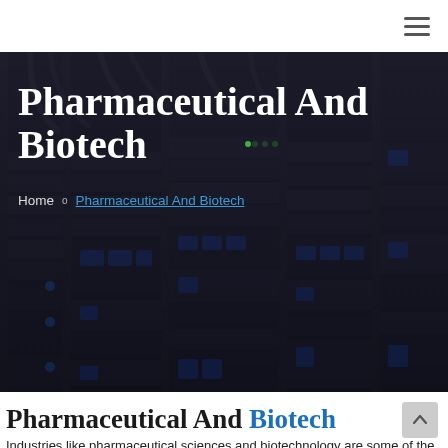≡ (navigation hamburger menu)
[Figure (photo): Dark server rack equipment with blue LED indicators, used as hero banner background image]
Pharmaceutical And Biotech
Home o Pharmaceutical And Biotech
Pharmaceutical And Biotech
Industries like pharmaceutical sciences and biotechnology are some of the big players in the current era of the decade However, old, these industries have been commercialized